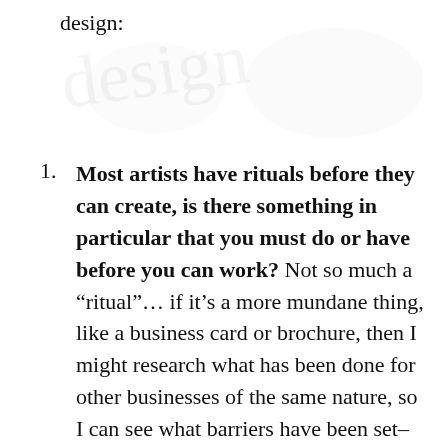design:
[Figure (illustration): Faint watermark/background image of artistic or decorative design elements in the upper portion of the page]
Most artists have rituals before they can create, is there something in particular that you must do or have before you can work? Not so much a “ritual”… if it’s a more mundane thing, like a business card or brochure, then I might research what has been done for other businesses of the same nature, so I can see what barriers have been set–turn the music on and go. If it’s a more creative project, like a book cover or poster, crank the music, maybe doodle a